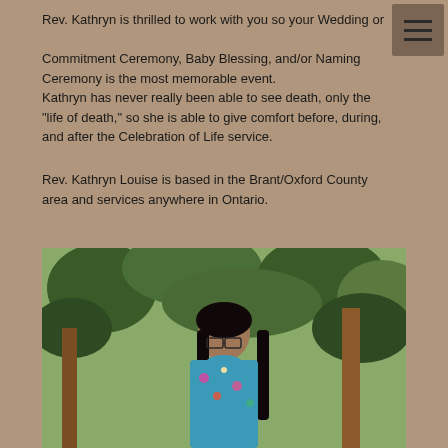Rev. Kathryn is thrilled to work with you so your Wedding or Commitment Ceremony, Baby Blessing, and/or Naming Ceremony is the most memorable event.
Kathryn has never really been able to see death, only the "life of death," so she is able to give comfort before, during, and after the Celebration of Life service.
Rev. Kathryn Louise is based in the Brant/Oxford County area and services anywhere in Ontario.
[Figure (photo): Portrait photograph of Rev. Kathryn Louise outdoors with trees in the background, wearing a colorful blue top]